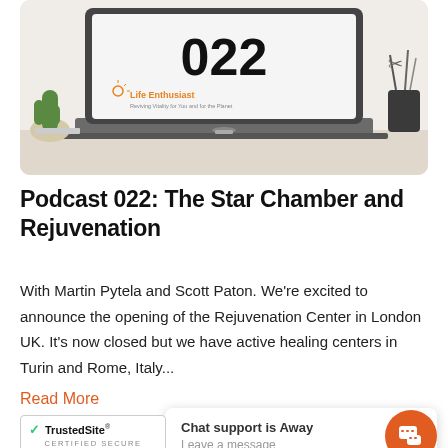[Figure (photo): Laptop on a desk displaying '022' and Life Enthusiast logo on screen, with cactus plant and pen holder in background]
Podcast 022: The Star Chamber and Rejuvenation
With Martin Pytela and Scott Paton. We're excited to announce the opening of the Rejuvenation Center in London UK. It's now closed but we have active healing centers in Turin and Rome, Italy...
Read More
Chat support is Away
Leave a message
[Figure (logo): TrustedSite Certified Secure badge]